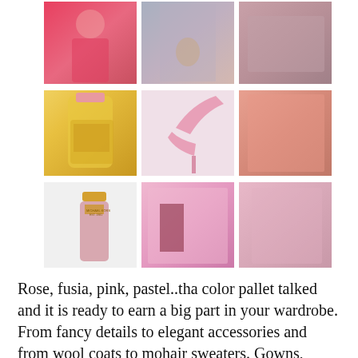[Figure (photo): 3x3 grid of fashion photos in pink/rose tones: row 1 shows a pink coat, a woman with handbag in pink, a pink fur clutch; row 2 shows a Michael Kors perfume bottle, pink strappy heels, a pink coat with accessories; row 3 shows a Michael Kors nail polish, a pink fur coat, a pink double-breasted coat.]
Rose, fusia, pink, pastel..tha color pallet talked and it is ready to earn a big part in your wardrobe. From fancy details to elegant accessories and from wool coats to mohair sweaters. Gowns, shoes, leather